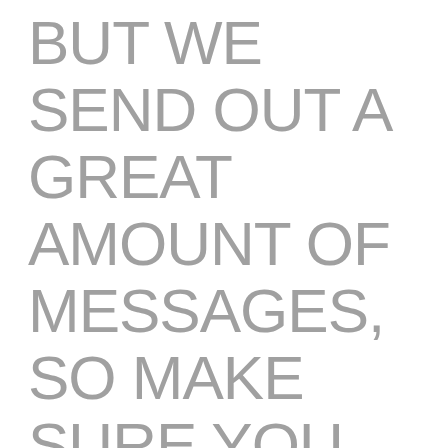BUT WE SEND OUT A GREAT AMOUNT OF MESSAGES, SO MAKE SURE YOU POSTING BRAND NEW TEXTS WE WANT TO SEND
Just how will it work with couple? What's your really upbeat attention for how things was within the step 3-6-nine months' go out?
This implies you meditate, go for a healthy run, stay quietly and you can breathe, think root entering the ground and you may strengthen your boundaries. All this represents thinking-handle and emotional cleverness. It doesn't matter if you might be a